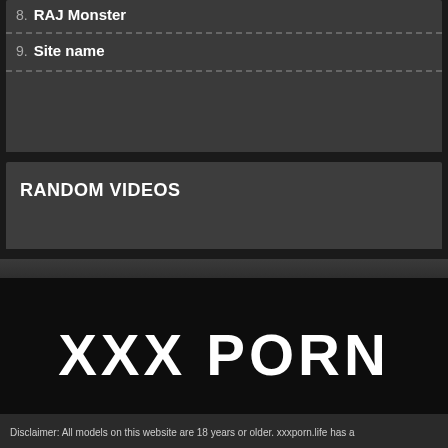8. RAJ Monster
9. Site name
RANDOM VIDEOS
XXX PORN
Disclaimer: All models on this website are 18 years or older. xxxporn.life has a